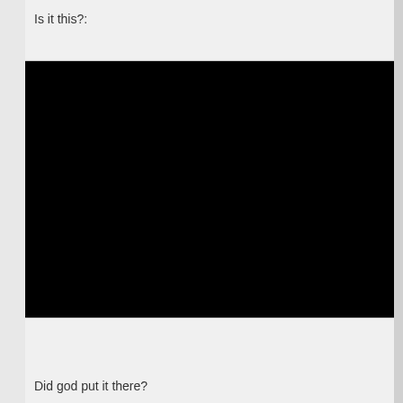Is it this?:
[Figure (photo): A completely black rectangular image, apparently a placeholder or failed image load.]
Did god put it there?